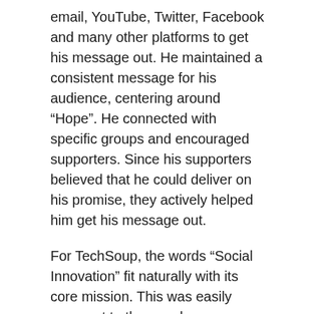email, YouTube, Twitter, Facebook and many other platforms to get his message out. He maintained a consistent message for his audience, centering around “Hope”. He connected with specific groups and encouraged supporters. Since his supporters believed that he could deliver on his promise, they actively helped him get his message out.
For TechSoup, the words “Social Innovation” fit naturally with its core mission. This was easily apparent to the members, constituents and partners that engage daily with us on many social media platforms. So when we reached out to our global network to help us get the votes, they were there to deliver and help us get the message out.
Thank you everyone. In both the real and virtual worlds, this was truly a Citizen’s Choice award.